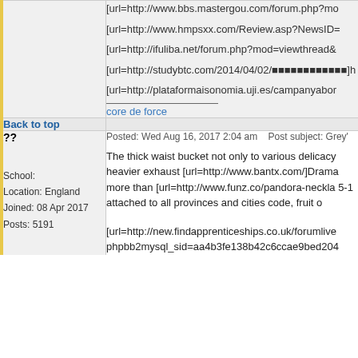[url=http://www.bbs.mastergou.com/forum.php?mo
[url=http://www.hmpsxx.com/Review.asp?NewsID=
[url=http://ifuliba.net/forum.php?mod=viewthread&
[url=http://studybtc.com/2014/04/02/■■■■■■■■■■■■]h
[url=http://plataformaisonomia.uji.es/campanyabor
core de force
Back to top
??
School:
Location: England
Joined: 08 Apr 2017
Posts: 5191
Posted: Wed Aug 16, 2017 2:04 am    Post subject: Grey'
The thick waist bucket not only to various delicacy heavier exhaust [url=http://www.bantx.com/]Drama more than [url=http://www.funz.co/pandora-neckla 5-1 attached to all provinces and cities code, fruit o
[url=http://new.findapprenticeships.co.uk/forumlive phpbb2mysql_sid=aa4b3fe138b42c6ccae9bed204